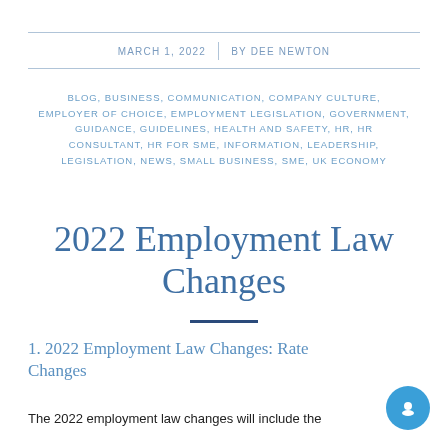MARCH 1, 2022 | BY DEE NEWTON
BLOG, BUSINESS, COMMUNICATION, COMPANY CULTURE, EMPLOYER OF CHOICE, EMPLOYMENT LEGISLATION, GOVERNMENT, GUIDANCE, GUIDELINES, HEALTH AND SAFETY, HR, HR CONSULTANT, HR FOR SME, INFORMATION, LEADERSHIP, LEGISLATION, NEWS, SMALL BUSINESS, SME, UK ECONOMY
2022 Employment Law Changes
1. 2022 Employment Law Changes: Rate Changes
The 2022 employment law changes will include the